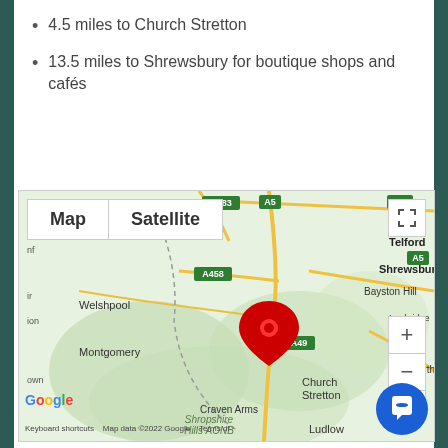4.5 miles to Church Stretton
13.5 miles to Shrewsbury for boutique shops and cafés
[Figure (map): Google Maps screenshot showing the area around Church Stretton in Shropshire, UK, with a red location pin marker. Map shows roads including A49, A458, A483, A5. Places visible include Shrewsbury, Bayston Hill, Telford, Ironbridge, Bridgnorth, Welshpool, Montgomery, Church Stretton, Shropshire Hills AONB, Craven Arms, Ludlow. Map/Satellite toggle buttons visible at top.]